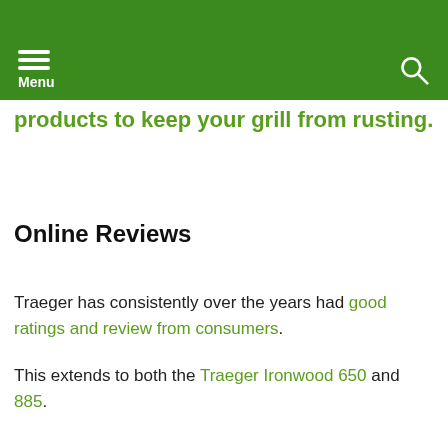Menu
products to keep your grill from rusting.
Online Reviews
Traeger has consistently over the years had good ratings and review from consumers.
This extends to both the Traeger Ironwood 650 and 885.